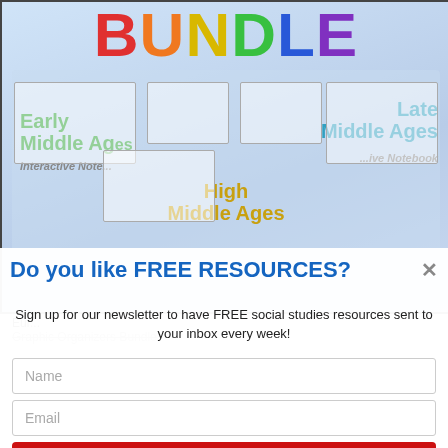[Figure (photo): Educational bundle product image showing colorful worksheets for Early Middle Ages, High Middle Ages, and Late Middle Ages interactive notebooks. Large colorful BUNDLE text at top in rainbow colors.]
Do you like FREE RESOURCES?
Sign up for our newsletter to have FREE social studies resources sent to your inbox every week!
Name
Email
SEND ME FREE RESOURCES!
European Middle Ages Interactive Graphic Organizers Bundle
$25
ADD